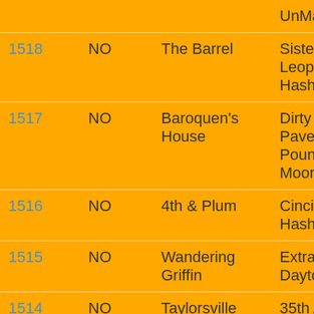| Run# | NO | Location | Hares |
| --- | --- | --- | --- |
|  |  |  | UnMa… |
| 1518 | NO | The Barrel | Siste… Leop… Hash… |
| 1517 | NO | Baroquen's House | Dirty… Pave… Poun… Moor… |
| 1516 | NO | 4th & Plum | Cinci… Hash… |
| 1515 | NO | Wandering Griffin | Extra… Dayto… |
| 1514 | NO | Taylorsville Metro Park | 35th A… and M… Imme… ResE… |
| 1513 | NO | Golden Eagle Land | Dirty… |
| 1512 | NO | Buckin Donkey Grill | Wet'… |